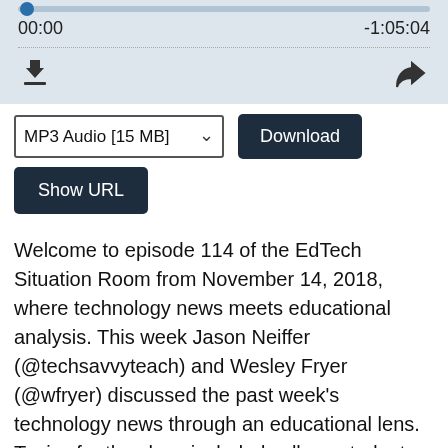[Figure (screenshot): Audio player UI with progress bar, time stamps 00:00 and -1:05:04, dotted divider, download icon and share icon]
[Figure (screenshot): MP3 Audio [15 MB] dropdown selector and Download button, followed by Show URL button]
Welcome to episode 114 of the EdTech Situation Room from November 14, 2018, where technology news meets educational analysis. This week Jason Neiffer (@techsavvyteach) and Wesley Fryer (@wfryer) discussed the past week's technology news through an educational lens. Topics for the show included college students at UC Berkeley developing browser extensions to identify political bot accounts on social media,